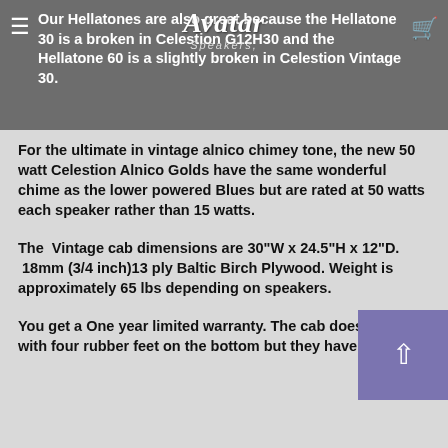Our Hellatones are also great because the Hellatone 30 is a broken in Celestion G12H30 and the Hellatone 60 is a slightly broken in Celestion Vintage 30.
For the ultimate in vintage alnico chimey tone, the new 50 watt Celestion Alnico Golds have the same wonderful chime as the lower powered Blues but are rated at 50 watts each speaker rather than 15 watts.
The  Vintage cab dimensions are 30"W x 24.5"H x 12"D.  18mm (3/4 inch)13 ply Baltic Birch Plywood. Weight is approximately 65 lbs depending on speakers.
You get a One year limited warranty. The cab does come with four rubber feet on the bottom but they have just been